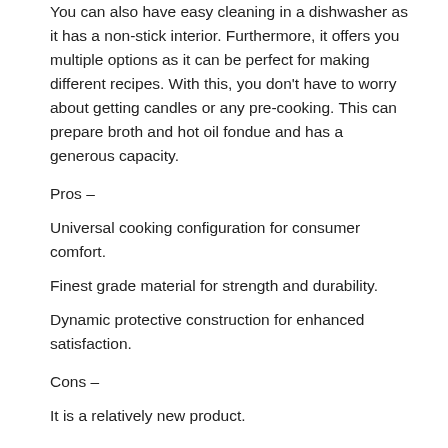You can also have easy cleaning in a dishwasher as it has a non-stick interior. Furthermore, it offers you multiple options as it can be perfect for making different recipes. With this, you don't have to worry about getting candles or any pre-cooking. This can prepare broth and hot oil fondue and has a generous capacity.
Pros –
Universal cooking configuration for consumer comfort.
Finest grade material for strength and durability.
Dynamic protective construction for enhanced satisfaction.
Cons –
It is a relatively new product.
11. Trudeau Electric Scarlet Fondue Pot – Best Electric